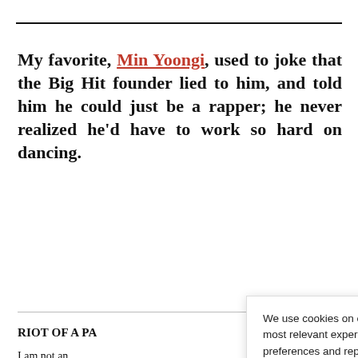My favorite, Min Yoongi, used to joke that the Big Hit founder lied to him, and told him he could just be a rapper; he never realized he'd have to work so hard on dancing.
RIOT OF A PA
I am not an... research has re... demographic t...
We use cookies on our website to give you the most relevant experience by remembering your preferences and repeat visits. By clicking "Accept", you consent to the use of ALL the cookies. See our Privacy Policy